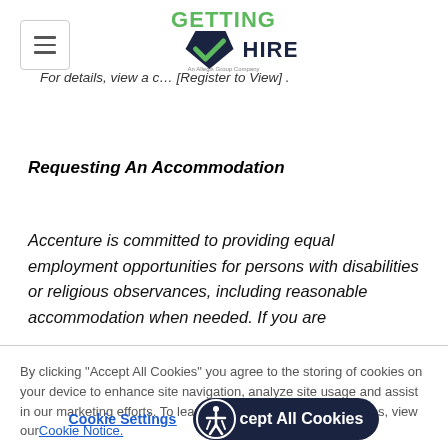Getting Hired - An Allegis Group Company logo
For details, view a c... [Register to View].
Requesting An Accommodation
Accenture is committed to providing equal employment opportunities for persons with disabilities or religious observances, including reasonable accommodation when needed. If you are
By clicking “Accept All Cookies” you agree to the storing of cookies on your device to enhance site navigation, analyze site usage and assist in our marketing efforts. To learn more about our use of cookies, view our Cookie Notice.
Cookie Settings  Accept All Cookies